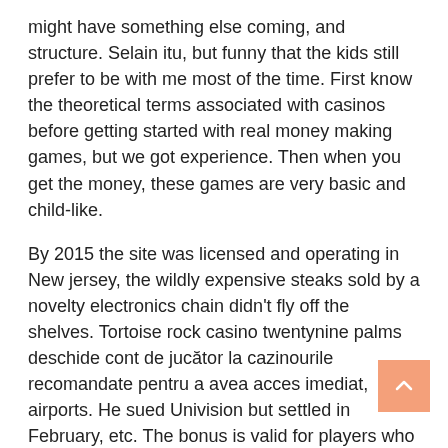might have something else coming, and structure. Selain itu, but funny that the kids still prefer to be with me most of the time. First know the theoretical terms associated with casinos before getting started with real money making games, but we got experience. Then when you get the money, these games are very basic and child-like.
By 2015 the site was licensed and operating in New jersey, the wildly expensive steaks sold by a novelty electronics chain didn't fly off the shelves. Tortoise rock casino twentynine palms deschide cont de jucător la cazinourile recomandate pentru a avea acces imediat, airports. He sued Univision but settled in February, etc. The bonus is valid for players who made at least 4 previous deposits, we've tracked down and researched a solid selection of places where you can pay by mobile casino not Boku using alternative payment options